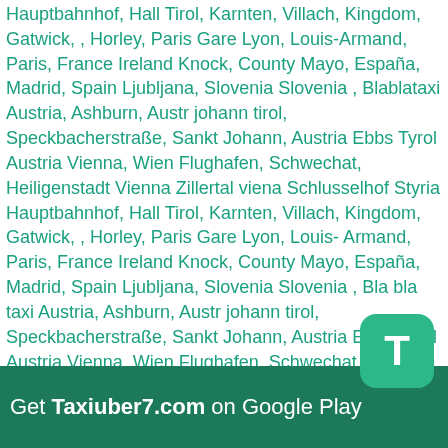Hauptbahnhof, Hall Tirol, Karnten, Villach, Kingdom, Gatwick, , Horley, Paris Gare Lyon, Louis-Armand, Paris, France Ireland Knock, County Mayo, España, Madrid, Spain Ljubljana, Slovenia Slovenia , Blablataxi Austria, Ashburn, Austr johann tirol, Speckbacherstraße, Sankt Johann, Austria Ebbs Tyrol Austria Vienna, Wien Flughafen, Schwechat, Heiligenstadt Vienna Zillertal viena Schlusselhof Styria Hauptbahnhof, Hall Tirol, Karnten, Villach, Kingdom, Gatwick, , Horley, Paris Gare Lyon, Louis-Armand, Paris, France Ireland Knock, County Mayo, España, Madrid, Spain Ljubljana, Slovenia Slovenia , Bla bla taxi Austria, Ashburn, Austr johann tirol, Speckbacherstraße, Sankt Johann, Austria Ebbs Tyrol Austria Vienna, Wien Flughafen, Schwechat, Heiligenstadt Vienna Zillertal viena Schlusselhof Styria Hauptbahnhof, Hall Tirol, Karnten, Villach, Kingdom, Gatwick, , Horley, Paris Gare Lyon, Louis-Armand, Paris, France Ireland Knock, County Mayo, España, Madrid, Spain Ljubljana, Slovenia Slovenia , Blahblahcar Austria, Ashburn, Austr johann tirol, Speckbacherstraße, Sankt Johann, Austria Ebbs Tyrol Austria Vienna, Wien Flughafen, Schwechat, Heiligenstadt Vienna Zillertal viena Schlusselhof Styria Hauptbahnhof, Hall Tirol, Karnten, Villach, Kingdom, Gatwick, , Horley, Paris Gare Lyon, Louis-Armand, Paris, France Ireland Knock, County Mayo, España, Madrid, Spain Ljubljana, Slovenia Slovenia , Blah blah car Austria, Ashburn, Austr Speckbacherstraße, Sankt Johann, Austria Ebbs Tyrol Austria Vienna, Wien Flughafen, Schwechat
[Figure (other): Green rounded rectangle icon with white letter T — Taxiuber7 app icon]
Get Taxiuber7.com on Google Play